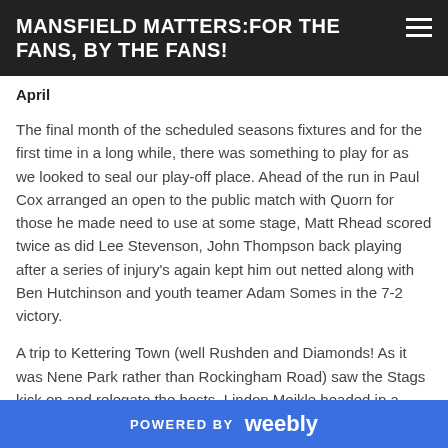MANSFIELD MATTERS:FOR THE FANS, BY THE FANS!
April
The final month of the scheduled seasons fixtures and for the first time in a long while, there was something to play for as we looked to seal our play-off place. Ahead of the run in Paul Cox arranged an open to the public match with Quorn for those he made need to use at some stage, Matt Rhead scored twice as did Lee Stevenson, John Thompson back playing after a series of injury's again kept him out netted along with Ben Hutchinson and youth teamer Adam Somes in the 7-2 victory.
A trip to Kettering Town (well Rushden and Diamonds! As it was Nene Park rather than Rockingham Road) saw the Stags kick on and relegate the hosts, Lindon Meikle headed in a
POWERED BY weebly